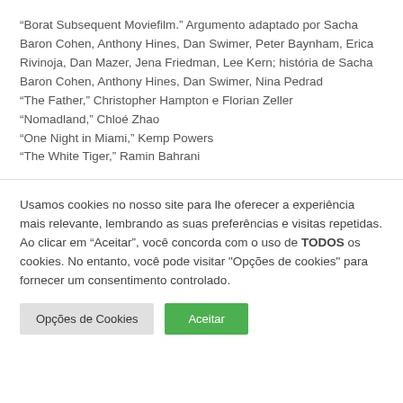“Borat Subsequent Moviefilm.” Argumento adaptado por Sacha Baron Cohen, Anthony Hines, Dan Swimer, Peter Baynham, Erica Rivinoja, Dan Mazer, Jena Friedman, Lee Kern; história de Sacha Baron Cohen, Anthony Hines, Dan Swimer, Nina Pedrad “The Father,” Christopher Hampton e Florian Zeller “Nomadland,” Chloé Zhao “One Night in Miami,” Kemp Powers “The White Tiger,” Ramin Bahrani
Usamos cookies no nosso site para lhe oferecer a experiência mais relevante, lembrando as suas preferências e visitas repetidas. Ao clicar em “Aceitar”, você concorda com o uso de TODOS os cookies. No entanto, você pode visitar "Opções de cookies" para fornecer um consentimento controlado.
Opções de Cookies
Aceitar